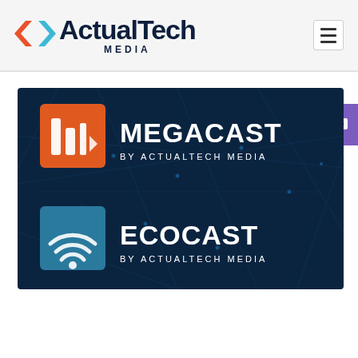ActualTech Media
[Figure (logo): ActualTech Media logo with orange and blue arrow/chevron icon and dark navy text reading 'ActualTech MEDIA']
[Figure (illustration): Dark navy blue background with network/tech pattern showing two product logos: MEGACAST by ActualTech Media (with orange icon) and ECOCAST by ActualTech Media (with teal icon)]